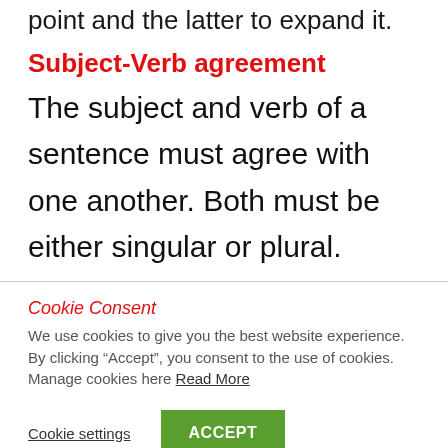point and the latter to expand it.
Subject-Verb agreement
The subject and verb of a sentence must agree with one another. Both must be either singular or plural.
Cookie Consent
We use cookies to give you the best website experience. By clicking “Accept”, you consent to the use of cookies. Manage cookies here Read More
Cookie settings   ACCEPT